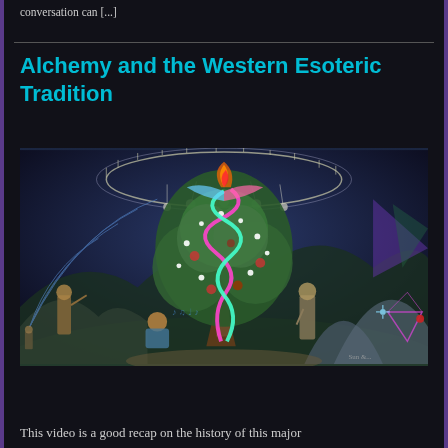conversation can [...]
Alchemy and the Western Esoteric Tradition
[Figure (illustration): A colorful esoteric/mystical illustration featuring a central tree of life with a caduceus-like serpent entwined around it, surrounded by figures of spiritual traditions, cosmic diagrams, geometric patterns, and celestial symbols against a dark blue background with mountains.]
This video is a good recap on the history of this major